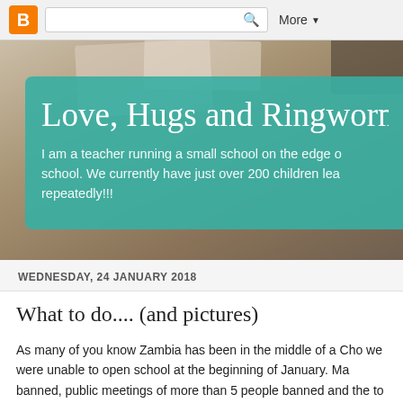Blogger navigation bar with logo, search box, and More button
[Figure (photo): Hero banner photo showing children studying, partially obscured by teal overlay box]
Love, Hugs and Ringworm
I am a teacher running a small school on the edge of school. We currently have just over 200 children lea repeatedly!!!
WEDNESDAY, 24 JANUARY 2018
What to do.... (and pictures)
As many of you know Zambia has been in the middle of a Cho we were unable to open school at the beginning of January. Ma banned, public meetings of more than 5 people banned and the to clean.
It was pretty difficult getting information about what was really